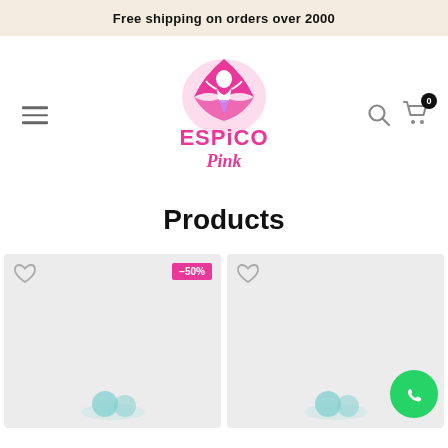Free shipping on orders over 2000
[Figure (logo): ESPiCO Pink logo — mermaid in a seashell with pink text]
Products
[Figure (photo): Product card with -50% badge and heart icon, placeholder product image at bottom]
[Figure (photo): Product card with heart icon and WhatsApp button, placeholder product image at bottom]